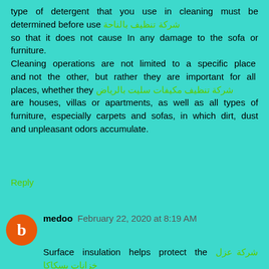type of detergent that you use in cleaning must be determined before use شركة تنظيف بالناحة so that it does not cause In any damage to the sofa or furniture. Cleaning operations are not limited to a specific place and not the other, but rather they are important for all places, whether they شركة تنظيف مكيفات سليت بالرياض are houses, villas or apartments, as well as all types of furniture, especially carpets and sofas, in which dirt, dust and unpleasant odors accumulate.
Reply
medoo  February 22, 2020 at 8:19 AM
Surface insulation helps protect the شركة عزل خزانات بسكاكا surface from water, which causes many damages شركة عزل خزانات بالرياض when it remains on the surface for a long time. It also leads to rusting of concrete, changing its color, and major